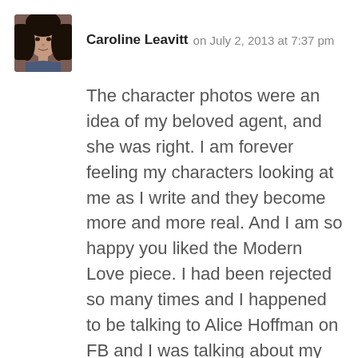[Figure (photo): Small square avatar photo of Caroline Leavitt, a woman with long dark hair]
Caroline Leavitt on July 2, 2013 at 7:37 pm
The character photos were an idea of my beloved agent, and she was right. I am forever feeling my characters looking at me as I write and they become more and more real. And I am so happy you liked the Modern Love piece. I had been rejected so many times and I happened to be talking to Alice Hoffman on FB and I was talking about my tortoise and she said,